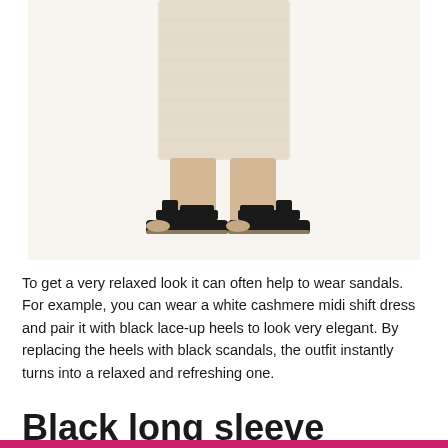[Figure (photo): A model wearing a light beige/cream knit midi skirt paired with black platform sandals, photographed from the waist down against a white background.]
To get a very relaxed look it can often help to wear sandals. For example, you can wear a white cashmere midi shift dress and pair it with black lace-up heels to look very elegant. By replacing the heels with black scandals, the outfit instantly turns into a relaxed and refreshing one.
Black long sleeve cashmere